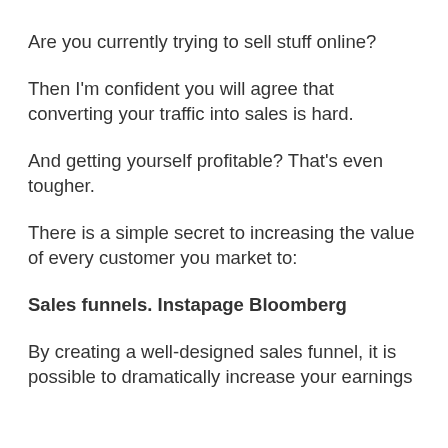Are you currently trying to sell stuff online?
Then I'm confident you will agree that converting your traffic into sales is hard.
And getting yourself profitable? That's even tougher.
There is a simple secret to increasing the value of every customer you market to:
Sales funnels. Instapage Bloomberg
By creating a well-designed sales funnel, it is possible to dramatically increase your earnings